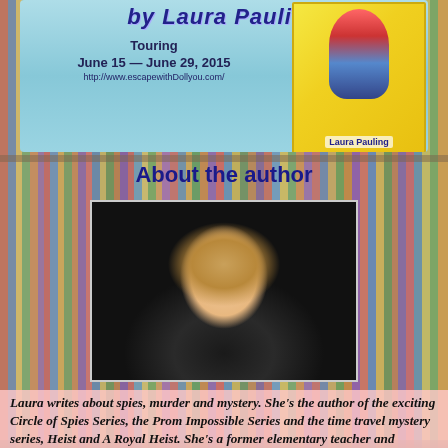[Figure (illustration): Book tour banner for Laura Pauling showing title text, touring dates June 15 - June 29 2015, website URL, and book cover image with illustrated girl character]
About the author
[Figure (photo): Portrait photograph of author Laura Pauling, a woman with blonde/light brown hair, smiling, wearing a black jacket, with a lake and trees in the background]
Laura writes about spies, murder and mystery. She's the author of the exciting Circle of Spies Series, the Prom Impossible Series and the time travel mystery series, Heist and A Royal Heist. She's a former elementary teacher and currently lives in New England. After spending time reading books to her kids and loving a good